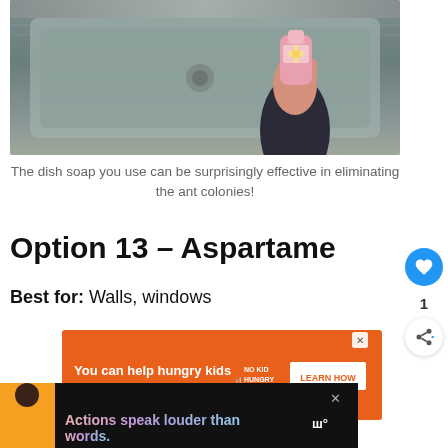[Figure (photo): Photo of a hand holding a dish soap bottle over a kitchen sink]
The dish soap you use can be surprisingly effective in eliminating the ant colonies!
Option 13 – Aspartame
Best for: Walls, windows
[Figure (infographic): Orange advertisement banner: You can help hungry kids. NO KID HUNGRY. LEARN HOW]
[Figure (infographic): Bottom advertisement: Actions speak louder than words.]